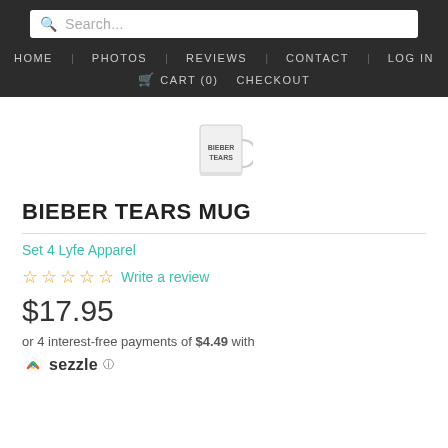Search... HOME PHOTOS REVIEWS CONTACT LOG IN CART (0) CHECKOUT
[Figure (photo): Product image of a white mug with text 'BIEBER TEARS' printed on it]
BIEBER TEARS MUG
Set 4 Lyfe Apparel
☆☆☆☆☆ Write a review
$17.95
or 4 interest-free payments of $4.49 with sezzle